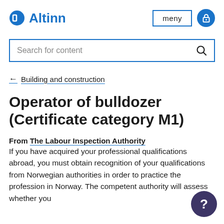Altinn — meny
Search for content
← Building and construction
Operator of bulldozer (Certificate category M1)
From The Labour Inspection Authority
If you have acquired your professional qualifications abroad, you must obtain recognition of your qualifications from Norwegian authorities in order to practice the profession in Norway. The competent authority will assess whether you